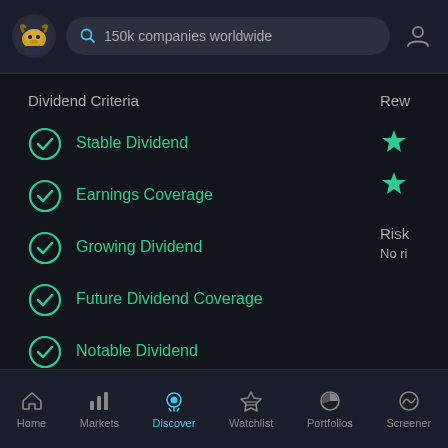150k companies worldwide
Dividend Criteria
Stable Dividend
Earnings Coverage
Growing Dividend
Future Dividend Coverage
Notable Dividend
High Dividend: GNTX's dividend (1.74%) is low compared to the top 25% of dividend payers in the US market (4.05%).
Home  Markets  Discover  Watchlist  Portfolios  Screener